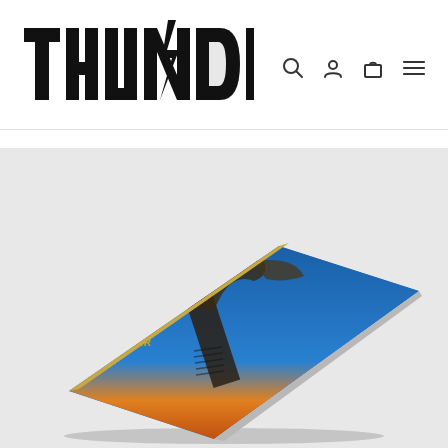[Figure (logo): THUNDER band logo in bold black stylized font with lightning bolt detail in the N, with navigation icons (search, user, bag, menu) to the right]
[Figure (photo): A product mockup showing a Thunder album or magazine lying at an angle on a light grey background. The cover features a blue sunset sky with a large sculptural wooden or metal bird-like structure, with the Thunder logo in yellow text on the left side of the cover.]